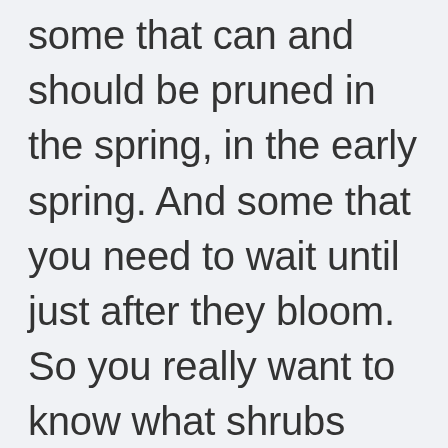some that can and should be pruned in the spring, in the early spring. And some that you need to wait until just after they bloom. So you really want to know what shrubs